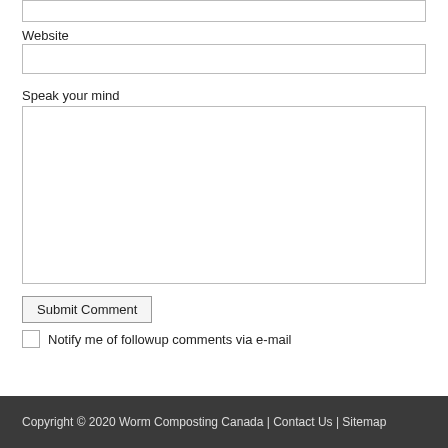Website
Speak your mind
Submit Comment
Notify me of followup comments via e-mail
Copyright © 2020 Worm Composting Canada | Contact Us | Sitemap